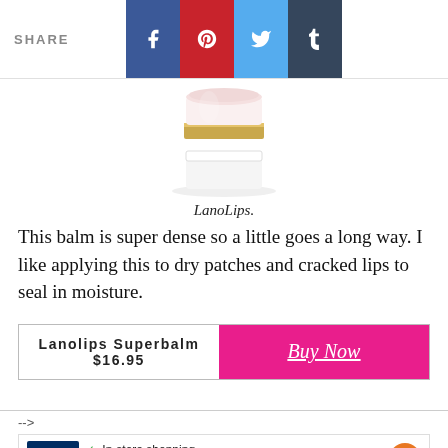SHARE
[Figure (photo): Product photo of a LanoLips lip balm jar, white and gold cylindrical container, partially cropped at top]
LanoLips.
This balm is super dense so a little goes a long way. I like applying this to dry patches and cracked lips to seal in moisture.
Lanolips Superbalm $16.95  Buy Now
-->
[Figure (screenshot): Petco advertisement banner showing: In-store shopping, Curbside pickup options with a green checkmark, petco logo, and orange direction arrow]